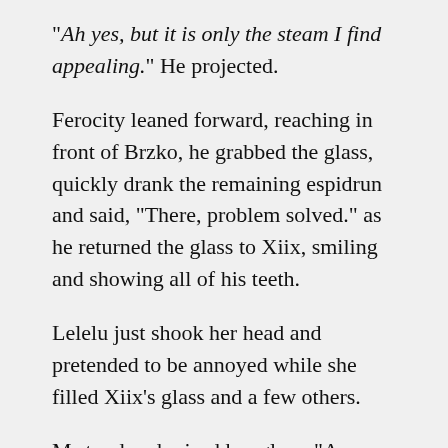“Ah yes, but it is only the steam I find appealing.” He projected.
Ferocity leaned forward, reaching in front of Brzko, he grabbed the glass, quickly drank the remaining espidrun and said, “There, problem solved.” as he returned the glass to Xiix, smiling and showing all of his teeth.
Lelelu just shook her head and pretended to be annoyed while she filled Xiix’s glass and a few others.
M stood and raised her glass, “A toast!” Everyone lifted their glasses, “To my oldest friend Kufeter Whakeclyte Wissswara Bartopulpyo, we are thankful to you for joining